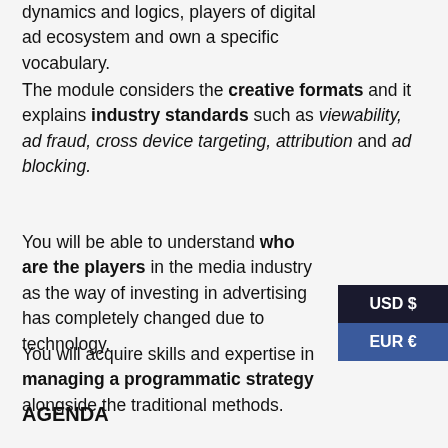dynamics and logics, players of digital ad ecosystem and own a specific vocabulary.
The module considers the creative formats and it explains industry standards such as viewability, ad fraud, cross device targeting, attribution and ad blocking.
You will be able to understand who are the players in the media industry as the way of investing in advertising has completely changed due to technology.
You will acquire skills and expertise in managing a programmatic strategy alongside the traditional methods.
AGENDA